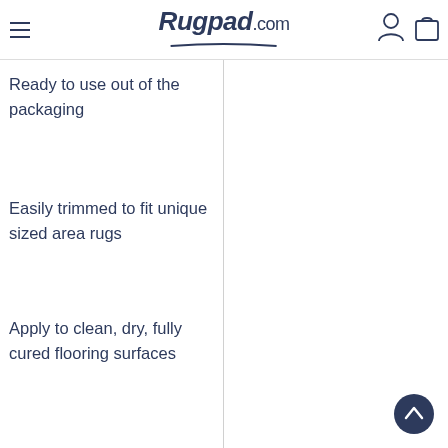Rugpad.com
Ready to use out of the packaging
Easily trimmed to fit unique sized area rugs
Apply to clean, dry, fully cured flooring surfaces